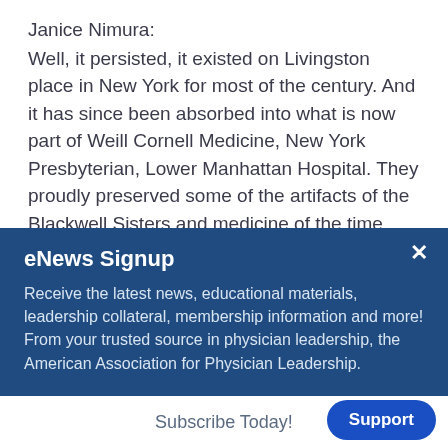Janice Nimura:
Well, it persisted, it existed on Livingston place in New York for most of the century. And it has since been absorbed into what is now part of Weill Cornell Medicine, New York Presbyterian, Lower Manhattan Hospital. They proudly preserved some of the artifacts of the Blackwell Sisters and medicine of the time.
eNews Signup
Receive the latest news, educational materials, leadership collateral, membership information and more! From your trusted source in physician leadership, the American Association for Physician Leadership.
Subscribe Today!
Support